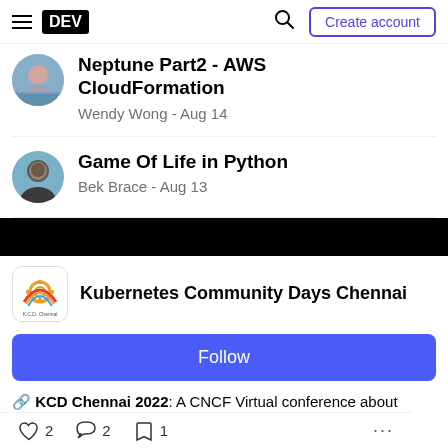DEV | Create account
Neptune Part2 - AWS CloudFormation
Wendy Wong - Aug 14
Game Of Life in Python
Bek Brace - Aug 13
Kubernetes Community Days Chennai
Follow
🔗 KCD Chennai 2022: A CNCF Virtual conference about Kubernetes, Cloud native, Cloud, DevOps and Open
2  2  1  ...